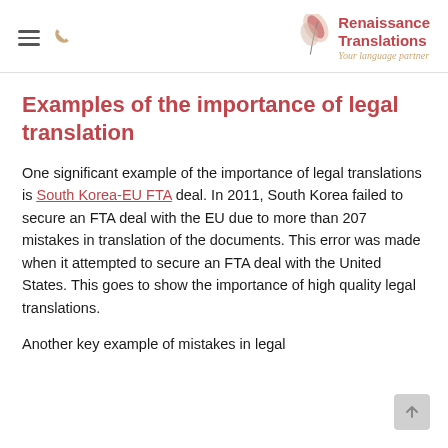Renaissance Translations — Your language partner
Examples of the importance of legal translation
One significant example of the importance of legal translations is South Korea-EU FTA deal. In 2011, South Korea failed to secure an FTA deal with the EU due to more than 207 mistakes in translation of the documents. This error was made when it attempted to secure an FTA deal with the United States. This goes to show the importance of high quality legal translations.
Another key example of mistakes in legal